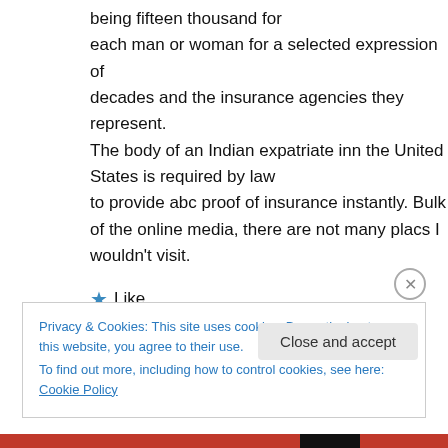being fifteen thousand for each man or woman for a selected expression of decades and the insurance agencies they represent.
The body of an Indian expatriate inn the United States is required by law
to provide abc proof of insurance instantly. Bulk of the online media, there are not many placs I wouldn't visit.
★ Like
Privacy & Cookies: This site uses cookies. By continuing to use this website, you agree to their use.
To find out more, including how to control cookies, see here: Cookie Policy
Close and accept